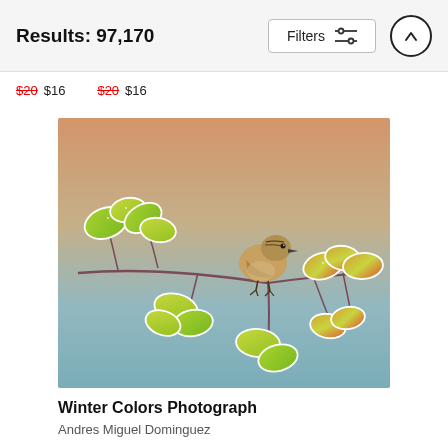Results: 97,170
$20 $16   $20 $16
[Figure (photo): A small bird perched on a branch with autumn leaves frosted with white edges, against a soft blurred background of warm orange and cool blue-gray tones. Photo titled 'Winter Colors Photograph' by Andres Miguel Dominguez.]
Winter Colors Photograph
Andres Miguel Dominguez